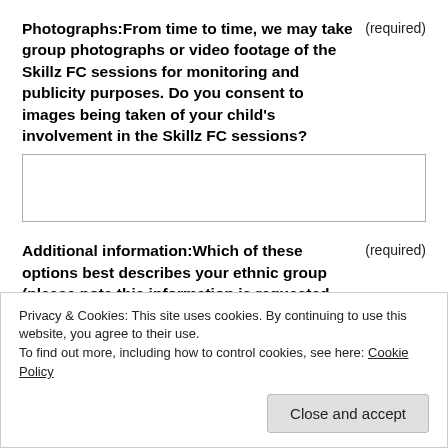Photographs:From time to time, we may take group photographs or video footage of the Skillz FC sessions for monitoring and publicity purposes. Do you consent to images being taken of your child's involvement in the Skillz FC sessions? (required)
[Answer box / text input field]
Additional information:Which of these options best describes your ethnic group (please note this information is requested (required)
Privacy & Cookies: This site uses cookies. By continuing to use this website, you agree to their use. To find out more, including how to control cookies, see here: Cookie Policy
Close and accept